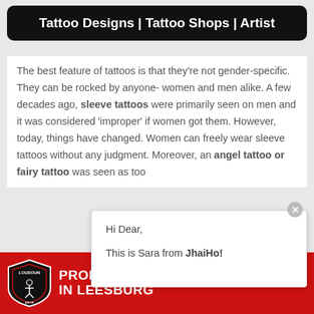Tattoo Designs | Tattoo Shops | Artist
The best feature of tattoos is that they’re not gender-specific. They can be rocked by anyone- women and men alike. A few decades ago, sleeve tattoos were primarily seen on men and it was considered ‘improper’ if women got them. However, today, things have changed. Women can freely wear sleeve tattoos without any judgment. Moreover, an angel tattoo or fairy tattoo was seen as too
Hi Dear,

This is Sara from JhaiHo!
[Figure (other): Professional Soccer in Leesburg advertisement banner with red background and team logo]